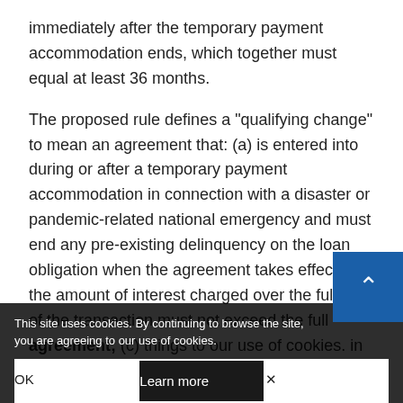immediately after the temporary payment accommodation ends, which together must equal at least 36 months.
The proposed rule defines a "qualifying change" to mean an agreement that: (a) is entered into during or after a temporary payment accommodation in connection with a disaster or pandemic-related national emergency and must end any pre-existing delinquency on the loan obligation when the agreement takes effect; (b) the amount of interest charged over the full term of the transaction must not exceed the full agreement; (c) things to our use of cookies. in connection with pre-existing late fees, penalties, stop-payment fees, or
This site uses cookies. By continuing to browse the site, you are agreeing to our use of cookies.